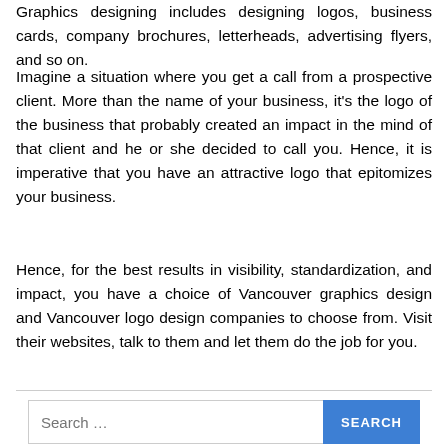Graphics designing includes designing logos, business cards, company brochures, letterheads, advertising flyers, and so on.
Imagine a situation where you get a call from a prospective client. More than the name of your business, it's the logo of the business that probably created an impact in the mind of that client and he or she decided to call you. Hence, it is imperative that you have an attractive logo that epitomizes your business.
Hence, for the best results in visibility, standardization, and impact, you have a choice of Vancouver graphics design and Vancouver logo design companies to choose from. Visit their websites, talk to them and let them do the job for you.